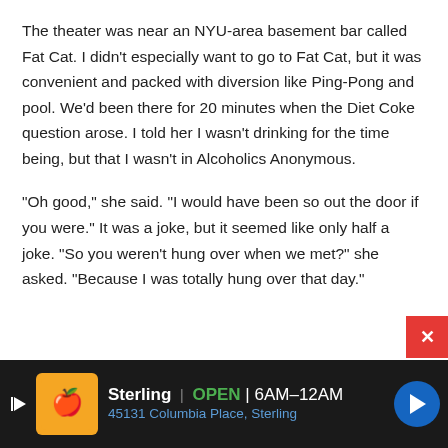The theater was near an NYU-area basement bar called Fat Cat. I didn't especially want to go to Fat Cat, but it was convenient and packed with diversion like Ping-Pong and pool. We'd been there for 20 minutes when the Diet Coke question arose. I told her I wasn't drinking for the time being, but that I wasn't in Alcoholics Anonymous.
"Oh good," she said. "I would have been so out the door if you were." It was a joke, but it seemed like only half a joke. "So you weren't hung over when we met?" she asked. "Because I was totally hung over that day."
[Figure (other): Advertisement bar at bottom: Sterling restaurant ad showing orange logo, OPEN 6AM-12AM, 45131 Columbia Place, Sterling, with blue navigation arrow button on right]